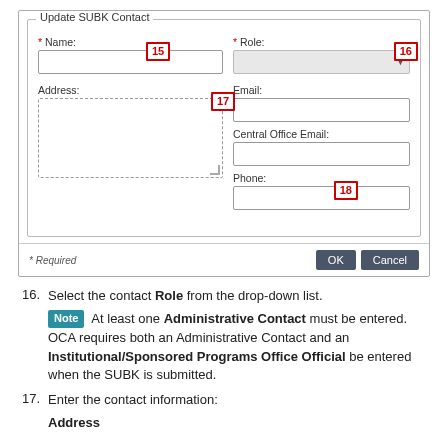[Figure (screenshot): Update SUBK Contact form dialog with fields: Name (labeled 15), Role dropdown (labeled 16), Address textarea (labeled 17), Email, Central Office Email, Phone fields, and OK/Cancel buttons (labeled 18). Required fields marked with asterisk.]
16. Select the contact Role from the drop-down list. Note: At least one Administrative Contact must be entered. OCA requires both an Administrative Contact and an Institutional/Sponsored Programs Office Official be entered when the SUBK is submitted.
17. Enter the contact information: Address